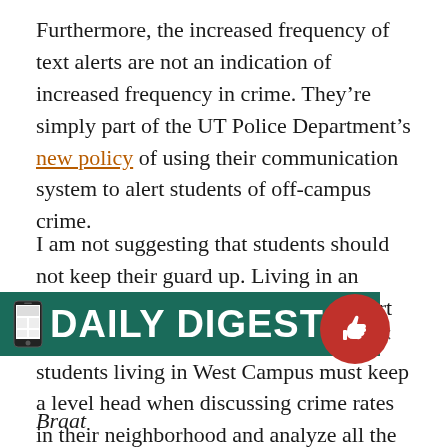Furthermore, the increased frequency of text alerts are not an indication of increased frequency in crime. They're simply part of the UT Police Department's new policy of using their communication system to alert students of off-campus crime.
I am not suggesting that students should not keep their guard up. Living in an urban area makes it important to be alert and cautious at all times. However, UT students living in West Campus must keep a level head when discussing crime rates in their neighborhood and analyze all the data before they let fear set in. While there is always room for community improvement, we must first be honest about our communities.
[Figure (other): Daily Digest banner overlay with phone icon and teal background, showing 'DAILY DIGEST' in white bold text]
Braat